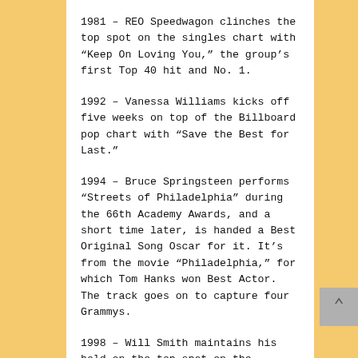1981 – REO Speedwagon clinches the top spot on the singles chart with “Keep On Loving You,” the group’s first Top 40 hit and No. 1.
1992 – Vanessa Williams kicks off five weeks on top of the Billboard pop chart with “Save the Best for Last.”
1994 – Bruce Springsteen performs “Streets of Philadelphia” during the 66th Academy Awards, and a short time later, is handed a Best Original Song Oscar for it. It’s from the movie “Philadelphia,” for which Tom Hanks won Best Actor. The track goes on to capture four Grammys.
1998 – Will Smith maintains his hold on the top spot on the Billboard Hot 100 for a second week with “Gettin’ Jiggy Wit It.”